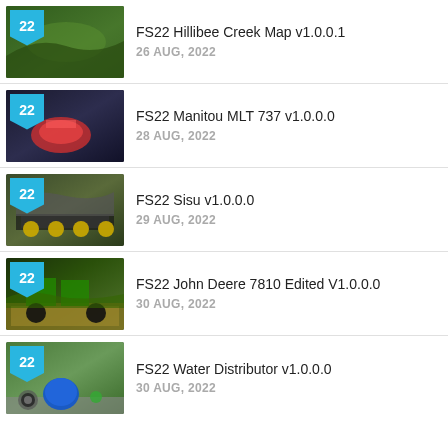FS22 Hillibee Creek Map v1.0.0.1 — 26 AUG, 2022
FS22 Manitou MLT 737 v1.0.0.0 — 28 AUG, 2022
FS22 Sisu v1.0.0.0 — 29 AUG, 2022
FS22 John Deere 7810 Edited V1.0.0.0 — 30 AUG, 2022
FS22 Water Distributor v1.0.0.0 — 30 AUG, 2022